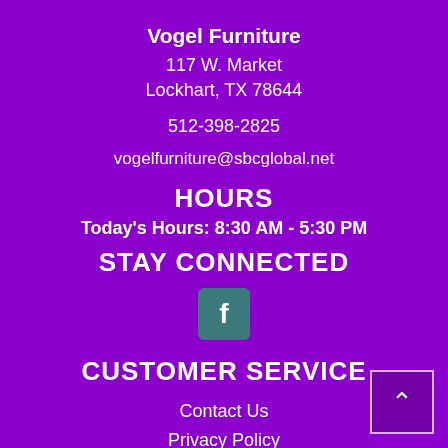Vogel Furniture
117 W. Market
Lockhart, TX 78644
512-398-2825
vogelfurniture@sbcglobal.net
HOURS
Today's Hours: 8:30 AM - 5:30 PM
STAY CONNECTED
[Figure (logo): Facebook logo icon in teal rounded square]
CUSTOMER SERVICE
Contact Us
Privacy Policy
Terms of Service
Accessibility
Site Map